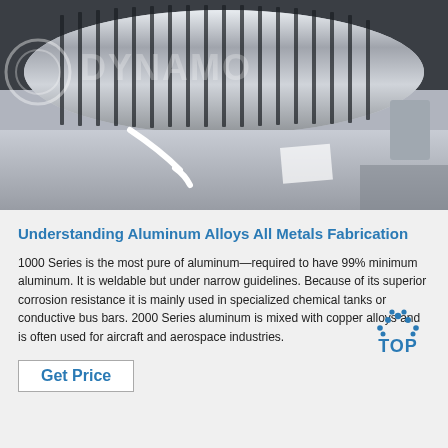[Figure (photo): Industrial aluminum coil or roll with metallic ribbed fins/grooves, photographed on a workshop floor. A watermark text is overlaid on the image. Industrial machinery components visible.]
Understanding Aluminum Alloys All Metals Fabrication
1000 Series is the most pure of aluminum—required to have 99% minimum aluminum. It is weldable but under narrow guidelines. Because of its superior corrosion resistance it is mainly used in specialized chemical tanks or conductive bus bars. 2000 Series aluminum is mixed with copper alloys and is often used for aircraft and aerospace industries.
[Figure (logo): TOP logo with blue dots arranged in a semicircle above the word TOP in blue text]
Get Price